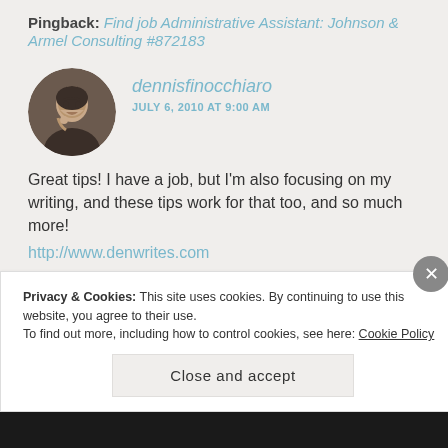Pingback: Find job Administrative Assistant: Johnson & Armel Consulting #872183
[Figure (photo): Circular avatar photo of a man with short dark hair, resting his chin on his hand, smiling]
dennisfinocchiaro
JULY 6, 2010 AT 9:00 AM
Great tips! I have a job, but I'm also focusing on my writing, and these tips work for that too, and so much more!
http://www.denwrites.com
★ Like
REPLY
Privacy & Cookies: This site uses cookies. By continuing to use this website, you agree to their use.
To find out more, including how to control cookies, see here: Cookie Policy
Close and accept